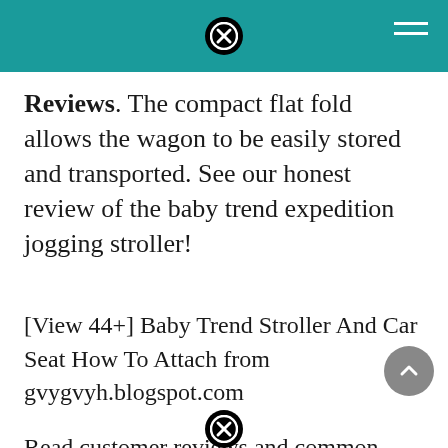Navigation header with close button and hamburger menu
Reviews. The compact flat fold allows the wagon to be easily stored and transported. See our honest review of the baby trend expedition jogging stroller!
[View 44+] Baby Trend Stroller And Car Seat How To Attach from gvygvyh.blogspot.com
Read customer reviews and common questions and answers for baby trend